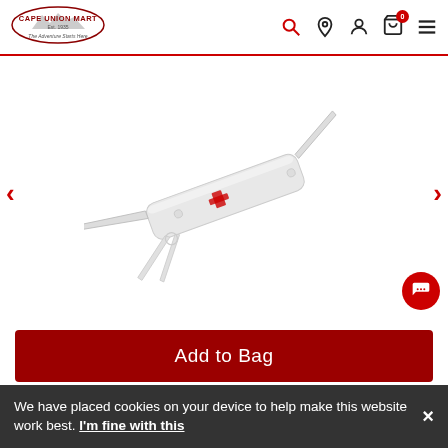Cape Union Mart - The Adventure Starts Here
[Figure (photo): Victorinox Swiss Army knife with white/silver body, blade and tools extended, shown on white background with left and right navigation arrows]
Add to Bag
[Figure (logo): PayPal button and Pay Later button, both on yellow background]
We have placed cookies on your device to help make this website work best. I'm fine with this